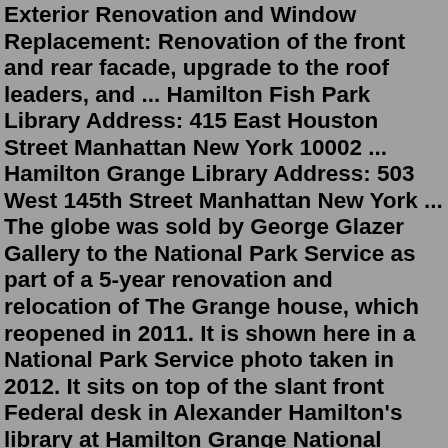Exterior Renovation and Window Replacement: Renovation of the front and rear facade, upgrade to the roof leaders, and ... Hamilton Fish Park Library Address: 415 East Houston Street Manhattan New York 10002 ... Hamilton Grange Library Address: 503 West 145th Street Manhattan New York ... The globe was sold by George Glazer Gallery to the National Park Service as part of a 5-year renovation and relocation of The Grange house, which reopened in 2011. It is shown here in a National Park Service photo taken in 2012. It sits on top of the slant front Federal desk in Alexander Hamilton's library at Hamilton Grange National Memorial.Open House New York 594 Broadway #607 New York, New York 10012 phone (212) 991 - 6470 mail info@ohny.org New York's Public Library's first full-floor dedicated teen space is situated within Harlem's landmark Hamilton Grange Branch. The 4,400sf LRA-designed space challenges the norms of library design to provide a contemporary, more open, social, technology-rich environment that fully engages